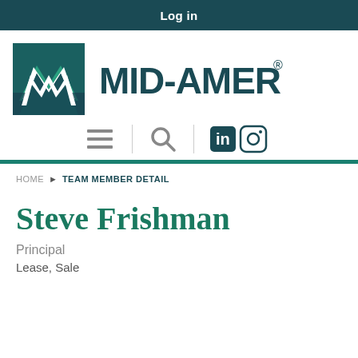Log in
[Figure (logo): Mid-America real estate company logo: a teal/green square with white stylized M mountain shape, next to bold teal text MID-AMERICA with registered trademark symbol]
HOME › TEAM MEMBER DETAIL
Steve Frishman
Principal
Lease, Sale